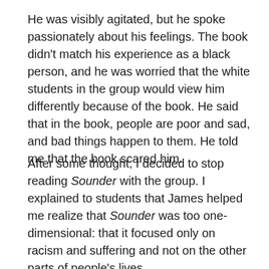He was visibly agitated, but he spoke passionately about his feelings. The book didn't match his experience as a black person, and he was worried that the white students in the group would view him differently because of the book. He said that in the book, people are poor and sad, and bad things happen to them. He told me that the book scared him.
After some thought, I decided to stop reading Sounder with the group. I explained to students that James helped me realize that Sounder was too one-dimensional: that it focused only on racism and suffering and not on the other parts of people's lives.